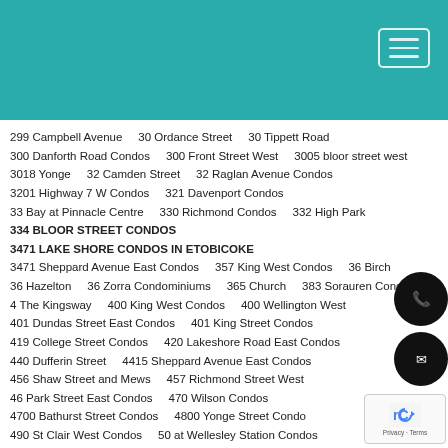[Figure (other): Teal/turquoise website header bar with hamburger menu icon in top right corner]
299 Campbell Avenue     30 Ordance Street     30 Tippett Road
300 Danforth Road Condos     300 Front Street West     3005 bloor street west
3018 Yonge     32 Camden Street     32 Raglan Avenue Condos
3201 Highway 7 W Condos     321 Davenport Condos
33 Bay at Pinnacle Centre     330 Richmond Condos     332 High Park
334 BLOOR STREET CONDOS
3471 LAKE SHORE CONDOS IN ETOBICOKE
3471 Sheppard Avenue East Condos     357 King West Condos     36 Birch
36 Hazelton     36 Zorra Condominiums     365 Church     383 Sorauren Condos
4 The Kingsway     400 King West Condos     400 Wellington West
401 Dundas Street East Condos     401 King Street Condos
419 College Street Condos     420 Lakeshore Road East Condos
440 Dufferin Street     4415 Sheppard Avenue East Condos
456 Shaw Street and Mews     457 Richmond Street West
46 Park Street East Condos     470 Wilson Condos
4700 Bathurst Street Condos     4800 Yonge Street Condo
490 St Clair West Condos     50 at Wellesley Station Condos
50 Scollard Condos     500 Wellington West     50-52 Neptune Drive
506 CHURCH STREET CONDOS     520 Richmond Condos
53 Sheppard west condos     530 St Clair Ave West     543 Richmond Con...
55 Charles East     550 Wellington West     55C Condos     57 Brock Condos